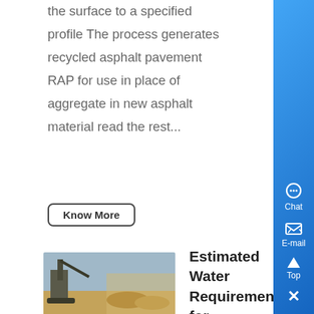the surface to a specified profile The process generates recycled asphalt pavement RAP for use in place of aggregate in new asphalt material read the rest...
Know More
[Figure (photo): Photo of industrial milling or crushing equipment at a construction or mining site with machinery visible against an outdoor landscape]
Estimated Water Requirements for the Conventional ,
The crushed ore is transferred to a semiautogenous SAG mill or ball mill where the ore is further reduced in size. Water is added to the ball mill, in which a slurry that usually contains from about 20 to 55 percent solids is produced Singh, 2010 ....